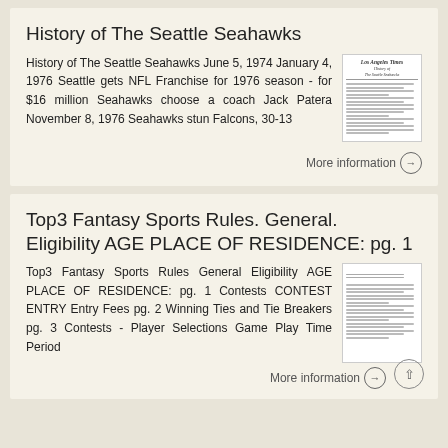History of The Seattle Seahawks
History of The Seattle Seahawks June 5, 1974 January 4, 1976 Seattle gets NFL Franchise for 1976 season - for $16 million Seahawks choose a coach Jack Patera November 8, 1976 Seahawks stun Falcons, 30-13
[Figure (screenshot): Thumbnail image of a Los Angeles Times newspaper article about the Seattle Seahawks]
More information →
Top3 Fantasy Sports Rules. General. Eligibility AGE PLACE OF RESIDENCE: pg. 1
Top3 Fantasy Sports Rules General Eligibility AGE PLACE OF RESIDENCE: pg. 1 Contests CONTEST ENTRY Entry Fees pg. 2 Winning Ties and Tie Breakers pg. 3 Contests - Player Selections Game Play Time Period
[Figure (screenshot): Thumbnail image of a document page about Top3 Fantasy Sports Rules]
More information →